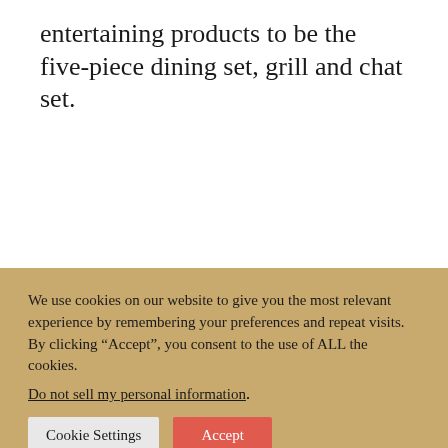entertaining products to be the five-piece dining set, grill and chat set.
We use cookies on our website to give you the most relevant experience by remembering your preferences and repeat visits. By clicking “Accept”, you consent to the use of ALL the cookies. Do not sell my personal information.